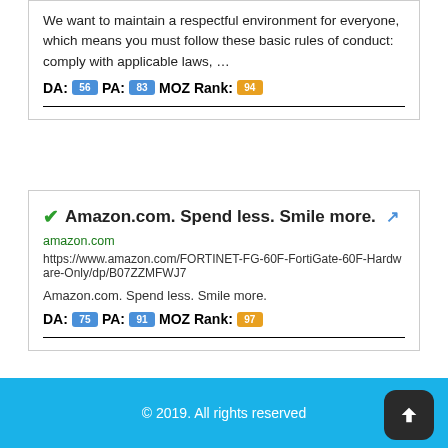We want to maintain a respectful environment for everyone, which means you must follow these basic rules of conduct: comply with applicable laws, …
DA: 56 PA: 83 MOZ Rank: 94
✔Amazon.com. Spend less. Smile more. 🔗
amazon.com
https://www.amazon.com/FORTINET-FG-60F-FortiGate-60F-Hardware-Only/dp/B07ZZMFWJ7
Amazon.com. Spend less. Smile more.
DA: 75 PA: 91 MOZ Rank: 97
© 2019. All rights reserved